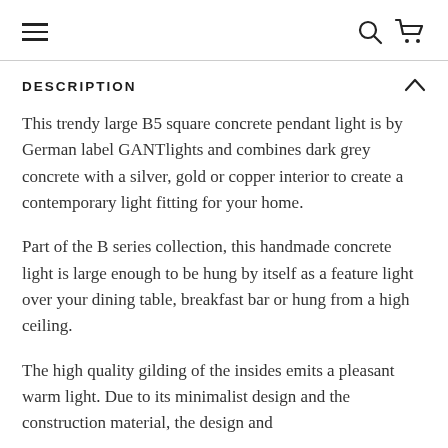≡  🔍  🛒
DESCRIPTION
This trendy large B5 square concrete pendant light is by German label GANTlights and combines dark grey concrete with a silver, gold or copper interior to create a contemporary light fitting for your home.
Part of the B series collection, this handmade concrete light is large enough to be hung by itself as a feature light over your dining table, breakfast bar or hung from a high ceiling.
The high quality gilding of the insides emits a pleasant warm light. Due to its minimalist design and the construction material, the design and…